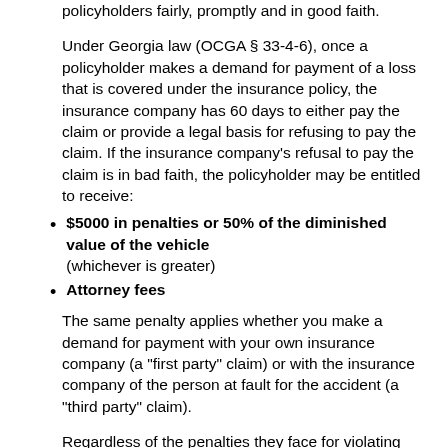policyholders fairly, promptly and in good faith.
Under Georgia law (OCGA § 33-4-6), once a policyholder makes a demand for payment of a loss that is covered under the insurance policy, the insurance company has 60 days to either pay the claim or provide a legal basis for refusing to pay the claim. If the insurance company's refusal to pay the claim is in bad faith, the policyholder may be entitled to receive:
$5000 in penalties or 50% of the diminished value of the vehicle (whichever is greater)
Attorney fees
The same penalty applies whether you make a demand for payment with your own insurance company (a "first party" claim) or with the insurance company of the person at fault for the accident (a "third party" claim).
Regardless of the penalties they face for violating the law, many insurance companies continue to offer lowball